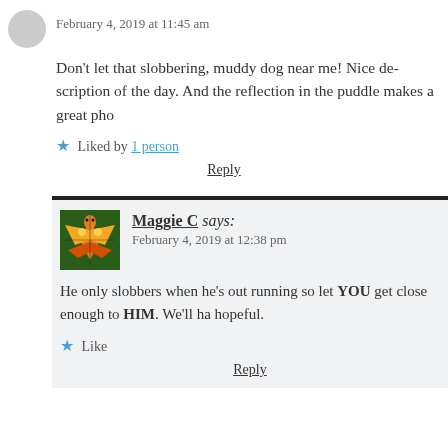February 4, 2019 at 11:45 am
Don't let that slobbering, muddy dog near me! Nice de… day. And the reflection in the puddle makes a great pho…
Liked by 1 person
Reply
[Figure (illustration): Stained glass butterfly/fox avatar icon]
Maggie C says: February 4, 2019 at 12:38 pm
He only slobbers when he's out running so… let YOU get close enough to HIM. We'll ha… hopeful.
Like
Reply